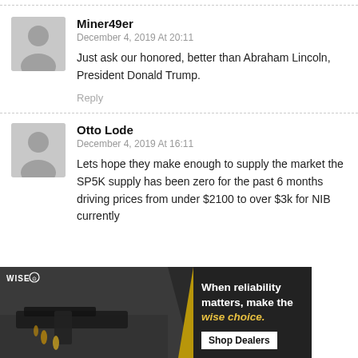Miner49er
December 4, 2019 At 20:11
Just ask our honored, better than Abraham Lincoln, President Donald Trump.
Reply
Otto Lode
December 4, 2019 At 16:11
Lets hope they make enough to supply the market the SP5K supply has been zero for the past 6 months driving prices from under $2100 to over $3k for NIB currently
[Figure (photo): Advertisement banner for WISE with a firearm/gun image on the left and text on the right reading 'When reliability matters, make the wise choice.' with a 'Shop Dealers' button]